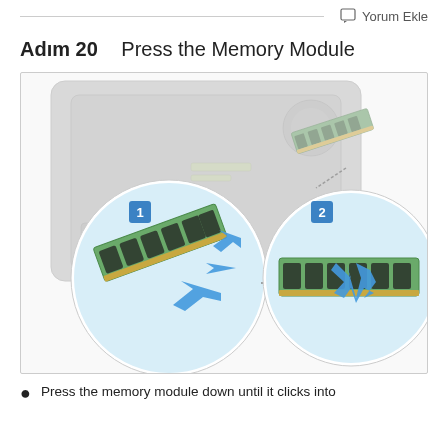Yorum Ekle
Adım 20    Press the Memory Module
[Figure (engineering-diagram): Two circular inset diagrams showing steps 1 and 2 of pressing a RAM memory module into a laptop slot. Step 1 shows the module being inserted at an angle with blue arrows indicating direction of push. Step 2 shows pressing the module down with a blue downward arrow. Background shows a laptop with open bottom panel and memory slot visible.]
Press the memory module down until it clicks into